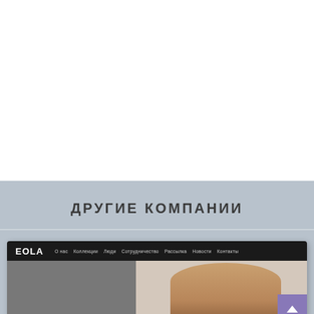ДРУГИЕ КОМПАНИИ
[Figure (screenshot): Screenshot of EOLA company website showing a navigation bar with EOLA logo and menu items, with a portrait of a woman on the right side]